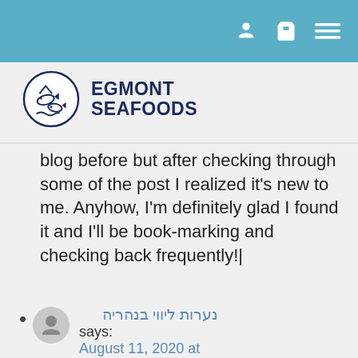Egmont Seafoods website header with navigation icons
[Figure (logo): Egmont Seafoods logo: circle with fish and waves illustration, text EGMONT SEAFOODS in dark navy bold font]
blog before but after checking through some of the post I realized it’s new to me. Anyhow, I’m definitely glad I found it and I’ll be book-marking and checking back frequently!|
נערות ליווי בנהריה says:
August 11, 2020 at 2:58 pm
Does your site have a